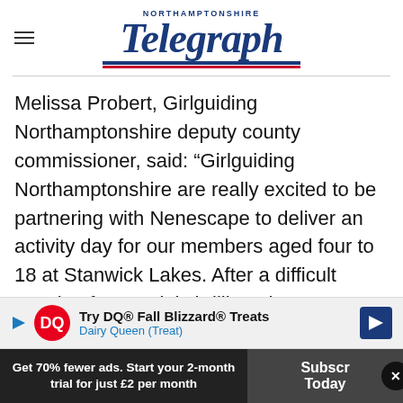[Figure (logo): Northamptonshire Telegraph newspaper logo with hamburger menu icon on the left]
Melissa Probert, Girlguiding Northamptonshire deputy county commissioner, said: “Girlguiding Northamptonshire are really excited to be partnering with Nenescape to deliver an activity day for our members aged four to 18 at Stanwick Lakes. After a difficult couple of years, it is brilliant that we are able to provide opportunities for our members to meet together outside in this beautiful natural area and learn about its importance to wildlife.
[Figure (screenshot): Dairy Queen advertisement banner: Try DQ® Fall Blizzard® Treats - Dairy Queen (Treat)]
Get 70% fewer ads. Start your 2-month trial for just £2 per month
Subscribe Today